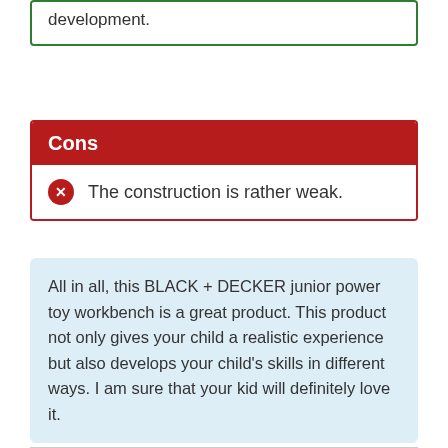development.
Cons
The construction is rather weak.
All in all, this BLACK + DECKER junior power toy workbench is a great product. This product not only gives your child a realistic experience but also develops your child’s skills in different ways. I am sure that your kid will definitely love it.